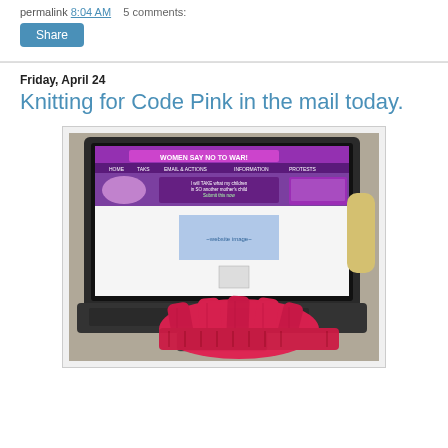permalink 8:04 AM    5 comments:
Share
Friday, April 24
Knitting for Code Pink in the mail today.
[Figure (photo): Photo of a laptop displaying a purple website with text 'WOMEN SAY NO TO WAR!' and red knitted item in front of the laptop on a desk.]